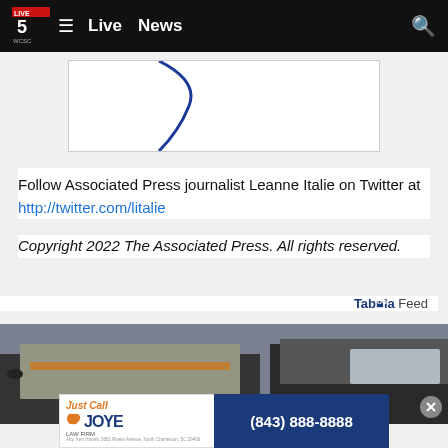Live 5 WCSC | Live News
[Figure (other): Advertisement placeholder box with blue curved arc graphic element]
Follow Associated Press journalist Leanne Italie on Twitter at http://twitter.com/litalie
Copyright 2022 The Associated Press. All rights reserved.
Taboola Feed
[Figure (photo): Photo of dirty Range Rover vehicles with dusty/muddy hoods]
[Figure (other): Joye Law Firm advertisement banner: Just Call JOYE (843) 888-8888]